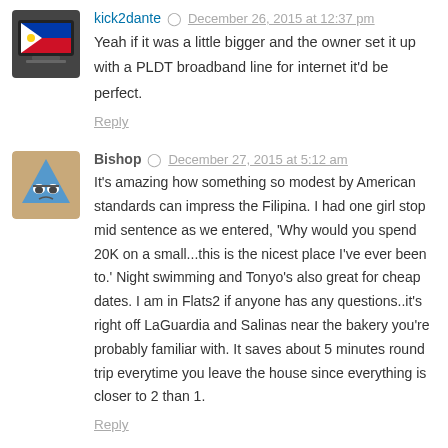[Figure (illustration): Avatar image of kick2dante: laptop with Philippine flag]
kick2dante  December 26, 2015 at 12:37 pm
Yeah if it was a little bigger and the owner set it up with a PLDT broadband line for internet it'd be perfect.
Reply
[Figure (illustration): Avatar image of Bishop: cartoon blue triangle character with glasses]
Bishop  December 27, 2015 at 5:12 am
It's amazing how something so modest by American standards can impress the Filipina. I had one girl stop mid sentence as we entered, 'Why would you spend 20K on a small...this is the nicest place I've ever been to.' Night swimming and Tonyo's also great for cheap dates. I am in Flats2 if anyone has any questions..it's right off LaGuardia and Salinas near the bakery you're probably familiar with. It saves about 5 minutes round trip everytime you leave the house since everything is closer to 2 than 1.
Reply
[Figure (illustration): Avatar image of kick2dante: laptop with Philippine flag]
kick2dante  December 27, 2015 at 8:09 am